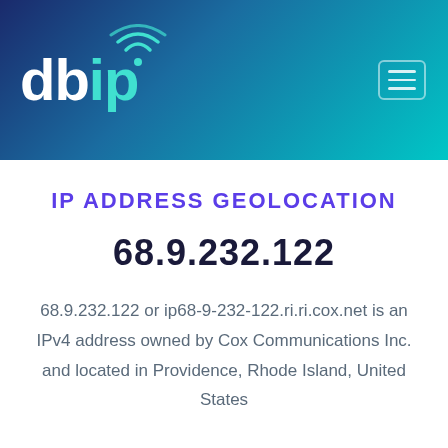[Figure (logo): db-ip.com logo with wifi signal icon above the 'i', text in white and teal on gradient blue background]
IP ADDRESS GEOLOCATION
68.9.232.122
68.9.232.122 or ip68-9-232-122.ri.ri.cox.net is an IPv4 address owned by Cox Communications Inc. and located in Providence, Rhode Island, United States